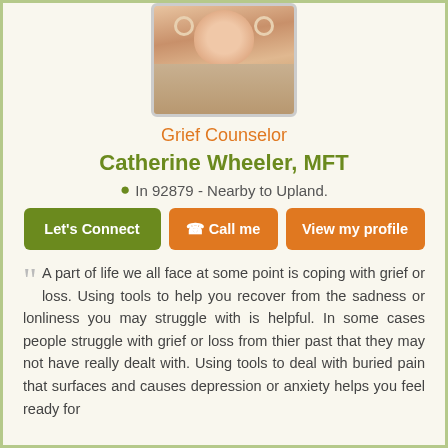[Figure (photo): Profile photo of Catherine Wheeler, a woman with blonde hair and hoop earrings, smiling]
Grief Counselor
Catherine Wheeler, MFT
In 92879 - Nearby to Upland.
Let's Connect  Call me  View my profile
A part of life we all face at some point is coping with grief or loss. Using tools to help you recover from the sadness or lonliness you may struggle with is helpful. In some cases people struggle with grief or loss from thier past that they may not have really dealt with. Using tools to deal with buried pain that surfaces and causes depression or anxiety helps you feel ready for